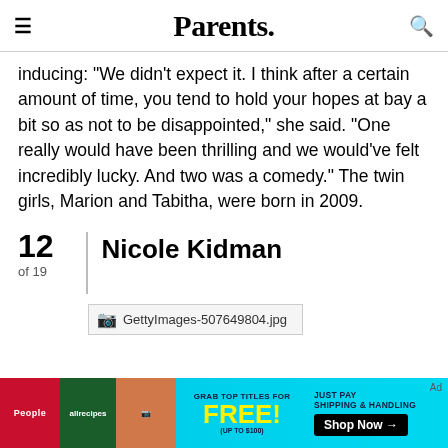Parents.
inducing: "We didn't expect it. I think after a certain amount of time, you tend to hold your hopes at bay a bit so as not to be disappointed," she said. "One really would have been thrilling and we would've felt incredibly lucky. And two was a comedy." The twin girls, Marion and Tabitha, were born in 2009.
12 of 19 | Nicole Kidman
[Figure (photo): GettyImages-507649804.jpg — partially visible image stub]
[Figure (infographic): Advertisement banner: People / allrecipes — GRAB TOP TITLES FOR FREE! (UP TO $100) JUST PAY SHIPPING & HANDLING Shop Now →]